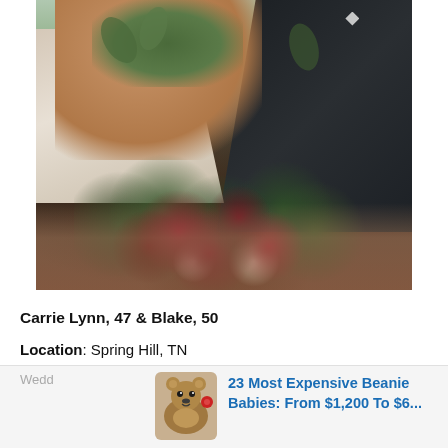[Figure (photo): Wedding photo of a couple. The woman in a white dress holds a large bouquet of dark red/burgundy and white flowers with greenery. The man behind her wears a dark navy/black suit. Background shows brick pavement and greenery.]
Carrie Lynn, 47 & Blake, 50
Location: Spring Hill, TN
23 Most Expensive Beanie Babies: From $1,200 To $6...